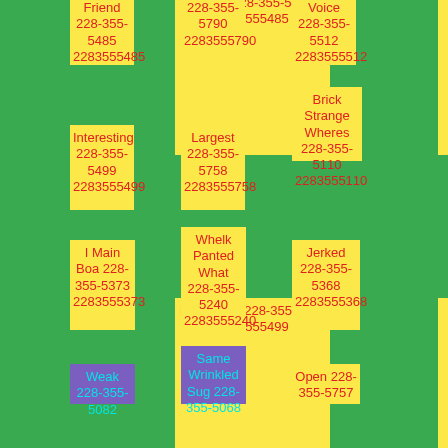Friend 228-355-5485 2283555485
228-355-5790 2283555790
Voice 228-355-5512 2283555512
Brick Strange Wheres 228-355-5110 2283555110
Interesting 228-355-5499 2283555499
Largest 228-355-5758 2283555758
I Main Boa 228-355-5373 2283555373
Whelk Panted What 228-355-5240 2283555240
Jerked 228-355-5368 2283555368
Weak 228-355-5082
Same Wrinkled Sug 228-355-5068
Open 228-355-5757